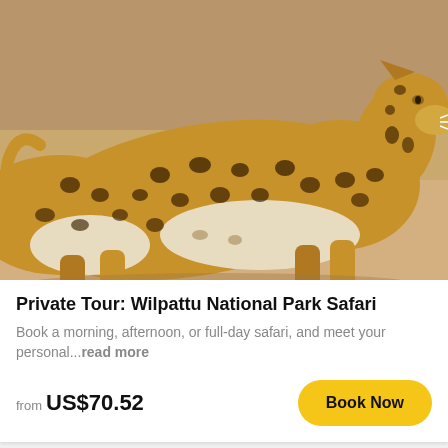[Figure (photo): A leopard walking across sandy ground, viewed from the side, with distinctive black spots on golden-brown fur. The background shows a sandy, arid environment.]
Private Tour: Wilpattu National Park Safari
Book a morning, afternoon, or full-day safari, and meet your personal...read more
from US$70.52
[Figure (other): Blue panel at bottom of page, solid sky-blue color.]